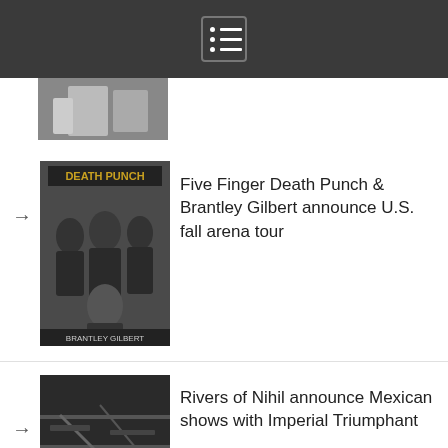[Figure (screenshot): Mobile app navigation bar with hamburger/list menu icon on dark grey background]
[Figure (photo): Partial thumbnail of a black and white band photo (top of page, cut off)]
Five Finger Death Punch & Brantley Gilbert announce U.S. fall arena tour
[Figure (photo): Thumbnail showing Five Finger Death Punch and Brantley Gilbert promotional image]
Rivers of Nihil announce Mexican shows with Imperial Triumphant
[Figure (photo): Thumbnail showing a dark atmospheric scene (Rivers of Nihil)]
Dream Theater guitarist John Petrucci adds more dates to solo tour
[Figure (photo): Thumbnail showing John Petrucci holding guitar with long beard]
Genre announces U.S. shows with The...